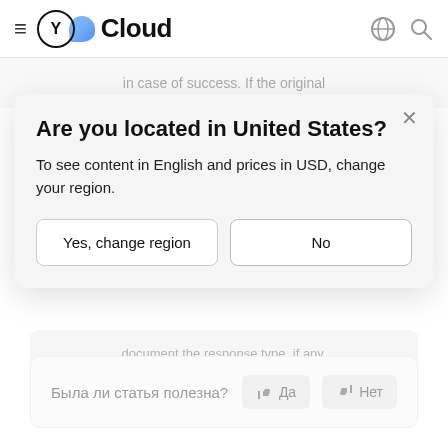≡ Y Cloud
in case of success. If the original
Are you located in United States?
To see content in English and prices in USD, change your region.
Yes, change region    No
document the response type, if any.
Была ли статья полезна?  👍 Да  👎 Нет